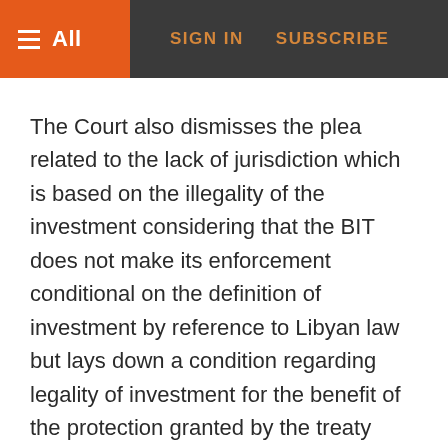≡ All   SIGN IN   SUBSCRIBE
The Court also dismisses the plea related to the lack of jurisdiction which is based on the illegality of the investment considering that the BIT does not make its enforcement conditional on the definition of investment by reference to Libyan law but lays down a condition regarding legality of investment for the benefit of the protection granted by the treaty (§75) and that a "legality of investment clause can only call into question the existence of the investment if this condition of legality is of such a serious nature that it would make the Arbitral Tribunal without jurisdiction to